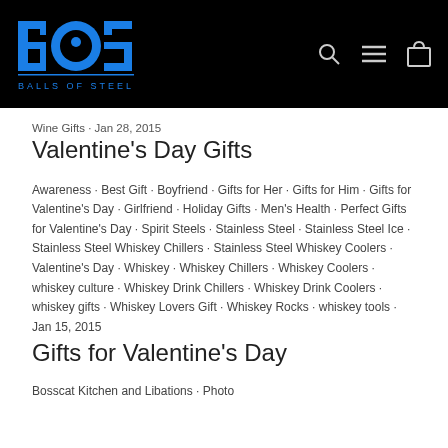[Figure (logo): Balls of Steel logo — blue BOS letters with tagline 'BALLS OF STEEL' on black header bar]
Wine Gifts · Jan 28, 2015
Valentine's Day Gifts
Awareness · Best Gift · Boyfriend · Gifts for Her · Gifts for Him · Gifts for Valentine's Day · Girlfriend · Holiday Gifts · Men's Health · Perfect Gifts for Valentine's Day · Spirit Steels · Stainless Steel · Stainless Steel Ice · Stainless Steel Whiskey Chillers · Stainless Steel Whiskey Coolers · Valentine's Day · Whiskey · Whiskey Chillers · Whiskey Coolers · whiskey culture · Whiskey Drink Chillers · Whiskey Drink Coolers · whiskey gifts · Whiskey Lovers Gift · Whiskey Rocks · whiskey tools · Jan 15, 2015
Gifts for Valentine's Day
Bosscat Kitchen and Libations · Photo